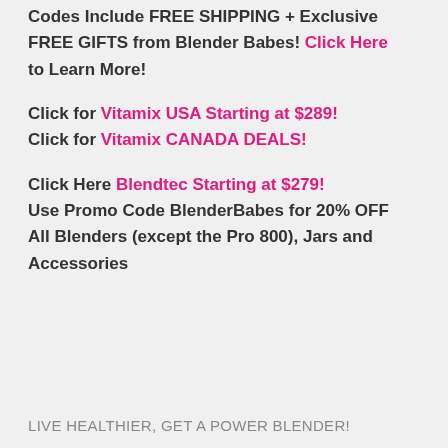Codes Include FREE SHIPPING + Exclusive FREE GIFTS from Blender Babes! Click Here to Learn More!
Click for Vitamix USA Starting at $289! Click for Vitamix CANADA DEALS!
Click Here Blendtec Starting at $279! Use Promo Code BlenderBabes for 20% OFF All Blenders (except the Pro 800), Jars and Accessories
LIVE HEALTHIER, GET A POWER BLENDER!